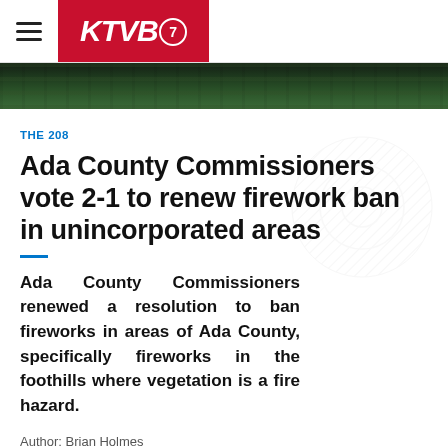KTVB7
[Figure (photo): Dark green foliage/tree photo strip banner]
THE 208
Ada County Commissioners vote 2-1 to renew firework ban in unincorporated areas
Ada County Commissioners renewed a resolution to ban fireworks in areas of Ada County, specifically fireworks in the foothills where vegetation is a fire hazard.
Author: Brian Holmes
Published: 7:10 PM MDT June 22, 2022
Updated: 7:10 PM MDT June 22, 2022